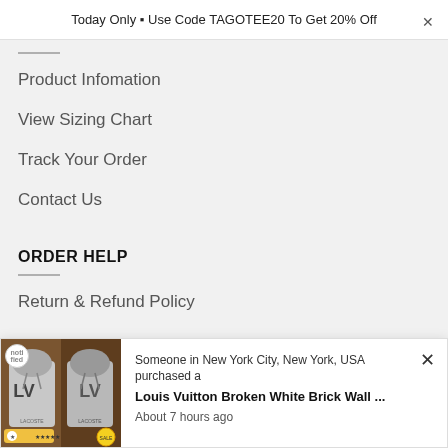Today Only ▶ Use Code TAGOTEE20 To Get 20% Off
Product Infomation
View Sizing Chart
Track Your Order
Contact Us
ORDER HELP
Return & Refund Policy
[Figure (screenshot): Popup notification showing a Louis Vuitton hoodie product image with purchase notification: Someone in New York City, New York, USA purchased a Louis Vuitton Broken White Brick Wall ... About 7 hours ago]